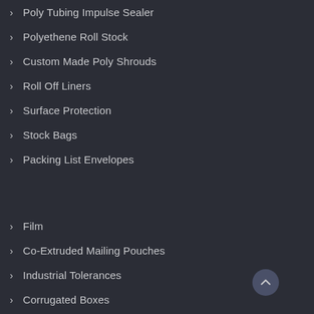Poly Tubing Impulse Sealer
Polyethene Roll Stock
Custom Made Poly Shrouds
Roll Off Liners
Surface Protection
Stock Bags
Packing List Envelopes
Film
Co-Extruded Mailing Pouches
Industrial Tolerances
Corrugated Boxes
Vinyl Pouches